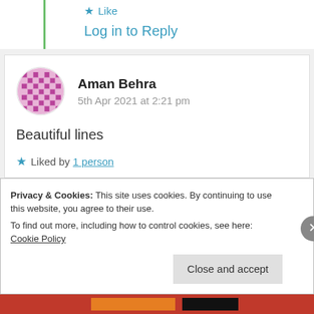★ Like
Log in to Reply
Aman Behra
5th Apr 2021 at 2:21 pm
Beautiful lines
★ Liked by 1 person
Privacy & Cookies: This site uses cookies. By continuing to use this website, you agree to their use.
To find out more, including how to control cookies, see here: Cookie Policy
Close and accept